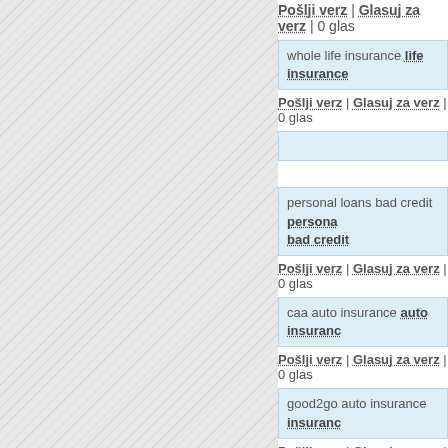Pošlji verz | Glasuj za verz | 0 glas
whole life insurance life insurance
Pošlji verz | Glasuj za verz | 0 glas
personal loans bad credit personal bad credit
Pošlji verz | Glasuj za verz | 0 glas
caa auto insurance auto insurance
Pošlji verz | Glasuj za verz | 0 glas
good2go auto insurance insurance
Pošlji verz | Glasuj za verz | 0 glas
state farm renters insurance home quotes homeowners insurance q
Pošlji verz | Glasuj za verz | 0 gla